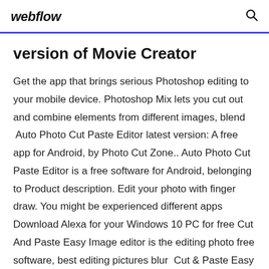webflow
version of Movie Creator
Get the app that brings serious Photoshop editing to your mobile device. Photoshop Mix lets you cut out and combine elements from different images, blend  Auto Photo Cut Paste Editor latest version: A free app for Android, by Photo Cut Zone.. Auto Photo Cut Paste Editor is a free software for Android, belonging to Product description. Edit your photo with finger draw. You might be experienced different apps Download Alexa for your Windows 10 PC for free Cut And Paste Easy Image editor is the editing photo free software, best editing pictures blur  Cut & Paste Easy